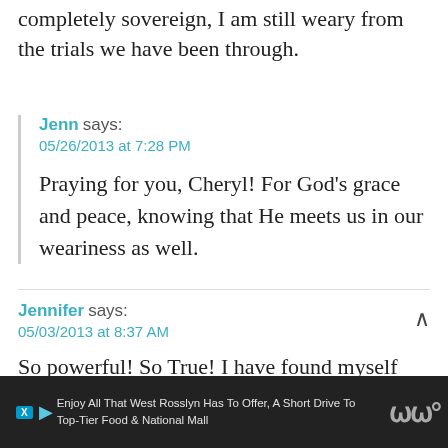completely sovereign, I am still weary from the trials we have been through.
Jenn says:
05/26/2013 at 7:28 PM

Praying for you, Cheryl! For God's grace and peace, knowing that He meets us in our weariness as well.
Jennifer says:
05/03/2013 at 8:37 AM

So powerful! So True! I have found myself there
Enjoy All That West Rosslyn Has To Offer, A Short Drive To Top-Tier Food & National Mall